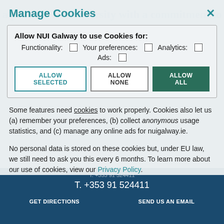Manage Cookies
Allow NUI Galway to use Cookies for: Functionality: ☐  Your preferences: ☐  Analytics: ☐  Ads: ☐
ALLOW SELECTED
ALLOW NONE
ALLOW ALL
Some features need cookies to work properly. Cookies also let us (a) remember your preferences, (b) collect anonymous usage statistics, and (c) manage any online ads for nuigalway.ie.
No personal data is stored on these cookies but, under EU law, we still need to ask you this every 6 months. To learn more about our use of cookies, view our Privacy Policy.
T. +353 91 524411
GET DIRECTIONS    SEND US AN EMAIL